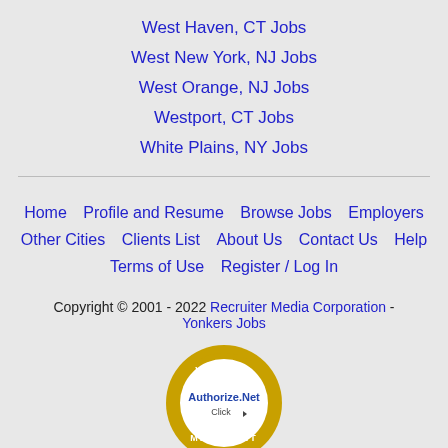West Haven, CT Jobs
West New York, NJ Jobs
West Orange, NJ Jobs
Westport, CT Jobs
White Plains, NY Jobs
Home | Profile and Resume | Browse Jobs | Employers | Other Cities | Clients List | About Us | Contact Us | Help | Terms of Use | Register / Log In
Copyright © 2001 - 2022 Recruiter Media Corporation - Yonkers Jobs
[Figure (logo): Authorize.Net Verified Merchant badge - circular gold/yellow seal with text VERIFIED MERCHANT and Authorize.Net Click logo in center]